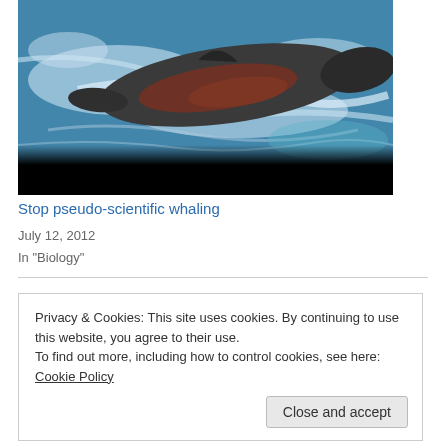[Figure (photo): Aerial or overhead photograph of a whale or large marine mammal swimming at the ocean surface, surrounded by blue-white churning water. The animal's dark dorsal side is visible with reddish-brown markings. The lower portion of the image fades to black.]
Stop pseudo-scientific whaling
July 12, 2012
In "Biology"
Privacy & Cookies: This site uses cookies. By continuing to use this website, you agree to their use. To find out more, including how to control cookies, see here: Cookie Policy
Close and accept